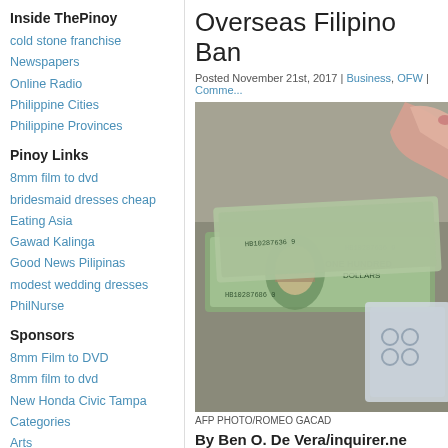Inside ThePinoy
cold stone franchise
Newspapers
Online Radio
Philippine Cities
Philippine Provinces
Pinoy Links
8mm film to dvd
bridesmaid dresses cheap
Eating Asia
Gawad Kalinga
Good News Pilipinas
modest wedding dresses
PhilNurse
Sponsors
8mm Film to DVD
8mm film to dvd
New Honda Civic Tampa
Categories
Arts
Breaking News
Business
Communities
Overseas Filipino Ban
Posted November 21st, 2017 | Business, OFW | Comme...
[Figure (photo): Close-up photo of US dollar bills ($100 bills) being handled, with a hand visible at the top right. AFP PHOTO/ROMEO GACAD]
AFP PHOTO/ROMEO GACAD
By Ben O. De Vera/inquirer.ne...